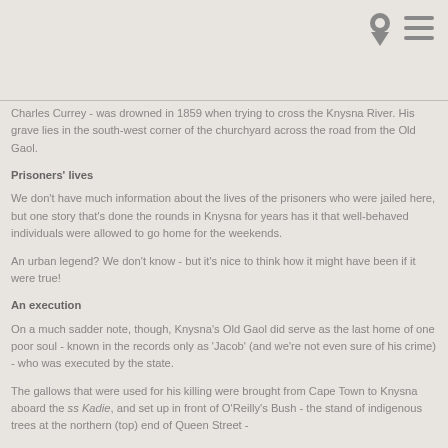Charles Currey - was drowned in 1859 when trying to cross the Knysna River. His grave lies in the south-west corner of the churchyard across the road from the Old Gaol.
Prisoners' lives
We don't have much information about the lives of the prisoners who were jailed here, but one story that's done the rounds in Knysna for years has it that well-behaved individuals were allowed to go home for the weekends.
An urban legend? We don't know - but it's nice to think how it might have been if it were true!
An execution
On a much sadder note, though, Knysna's Old Gaol did serve as the last home of one poor soul - known in the records only as 'Jacob' (and we're not even sure of his crime) - who was executed by the state.
The gallows that were used for his killing were brought from Cape Town to Knysna aboard the ss Kadie, and set up in front of O'Reilly's Bush - the stand of indigenous trees at the northern (top) end of Queen Street -